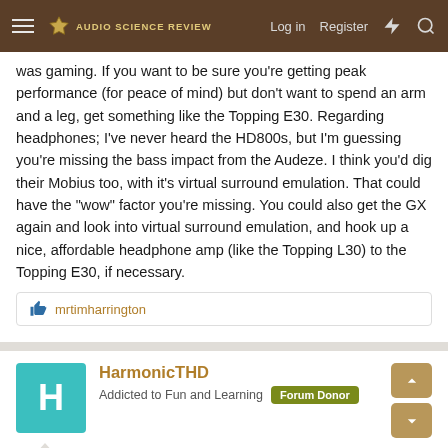Audio Science Review — Log in | Register
was gaming. If you want to be sure you're getting peak performance (for peace of mind) but don't want to spend an arm and a leg, get something like the Topping E30. Regarding headphones; I've never heard the HD800s, but I'm guessing you're missing the bass impact from the Audeze. I think you'd dig their Mobius too, with it's virtual surround emulation. That could have the "wow" factor you're missing. You could also get the GX again and look into virtual surround emulation, and hook up a nice, affordable headphone amp (like the Topping L30) to the Topping E30, if necessary.
mrtimharrington
HarmonicTHD
Addicted to Fun and Learning | Forum Donor
Apr 25, 2022
#5
See also here